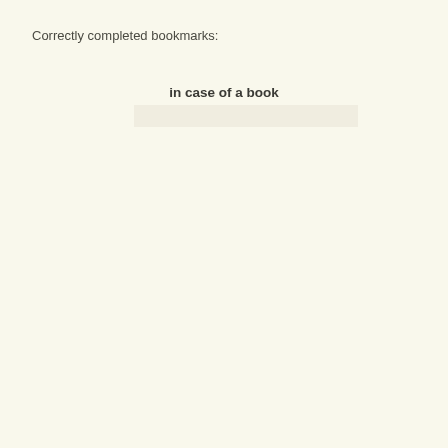Correctly completed bookmarks:
in case of a book
[Figure (other): A light-colored rectangular input box below the 'in case of a book' text]